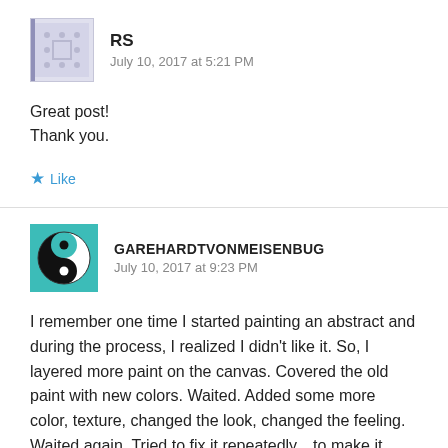[Figure (illustration): Avatar/profile image for user RS — grey/lavender placeholder icon with dot grid pattern]
RS
July 10, 2017 at 5:21 PM
Great post!
Thank you.
Like
[Figure (illustration): Yin-yang symbol avatar on teal/turquoise background for user GAREHARDTVONMEISENBUG]
GAREHARDTVONMEISENBUG
July 10, 2017 at 9:23 PM
I remember one time I started painting an abstract and during the process, I realized I didn't like it. So, I layered more paint on the canvas. Covered the old paint with new colors. Waited. Added some more color, texture, changed the look, changed the feeling. Waited again. Tried to fix it repeatedly…to make it pleasing. Nothing I